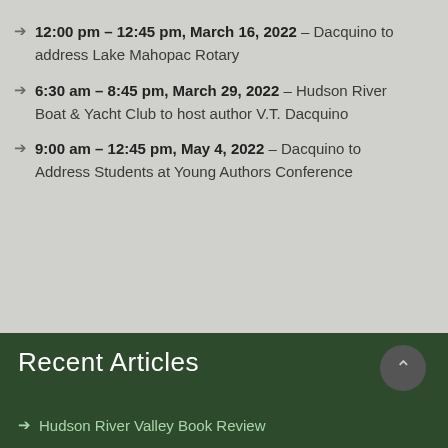12:00 pm – 12:45 pm, March 16, 2022 – Dacquino to address Lake Mahopac Rotary
6:30 am – 8:45 pm, March 29, 2022 – Hudson River Boat & Yacht Club to host author V.T. Dacquino
9:00 am – 12:45 pm, May 4, 2022 – Dacquino to Address Students at Young Authors Conference
Recent Articles
Hudson River Valley Book Review